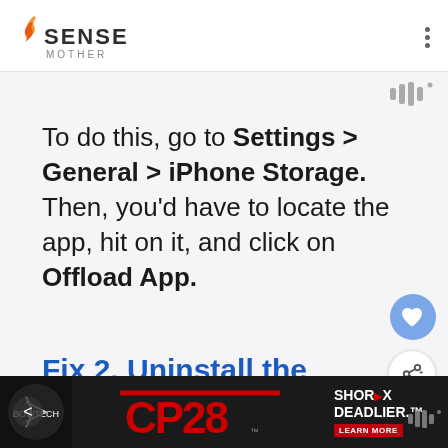SENSE MOTHER
To do this, go to Settings > General > iPhone Storage. Then, you'd have to locate the app, hit on it, and click on Offload App.
Fix 2. Uninstall the Voice
[Figure (illustration): Advertisement banner for Bowtech CP28 compound bow with text SHOR DEADLIER and LEARN MORE button]